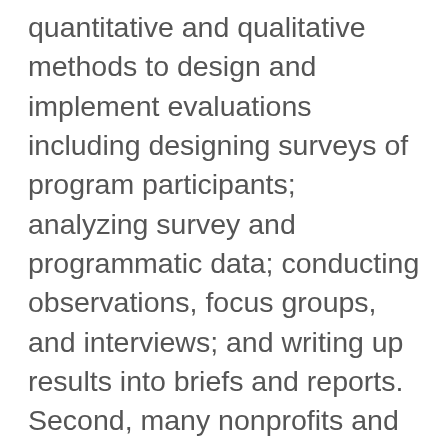quantitative and qualitative methods to design and implement evaluations including designing surveys of program participants; analyzing survey and programmatic data; conducting observations, focus groups, and interviews; and writing up results into briefs and reports. Second, many nonprofits and local city agencies have in-house evaluation departments to design and implement the required evaluation components. The larger the organization, the larger the evaluation department is likely to be. For example, NYC's Department of